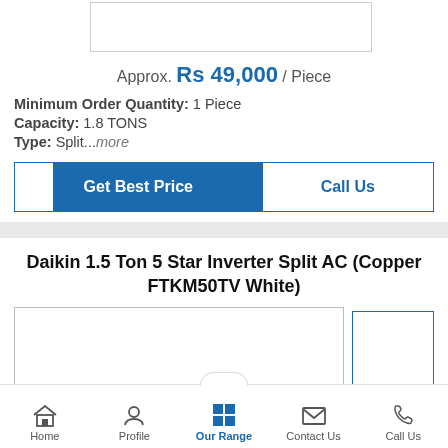[Figure (photo): Product image placeholder (top, partially visible)]
Approx. Rs 49,000 / Piece
Minimum Order Quantity: 1 Piece
Capacity: 1.8 TONS
Type: Split...more
Get Best Price
Call Us
Daikin 1.5 Ton 5 Star Inverter Split AC (Copper FTKM50TV White)
[Figure (photo): Product image placeholder (bottom section, partially visible)]
Home | Profile | Our Range | Contact Us | Call Us